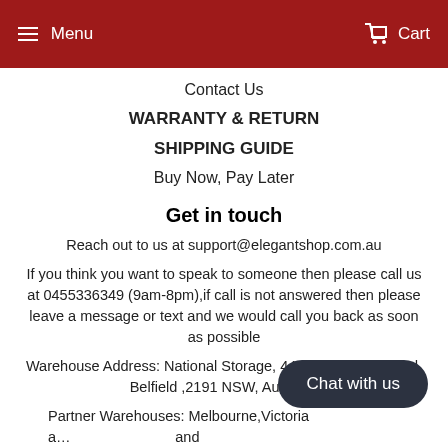Menu   Cart
Contact Us
WARRANTY & RETURN
SHIPPING GUIDE
Buy Now, Pay Later
Get in touch
Reach out to us at support@elegantshop.com.au
If you think you want to speak to someone then please call us at 0455336349 (9am-8pm),if call is not answered then please leave a message or text and we would call you back as soon as possible
Warehouse Address: National Storage, 444 Punchbowl Road, Belfield ,2191 NSW, Australia
Partner Warehouses: Melbourne,Victoria and
Subscribe for offers